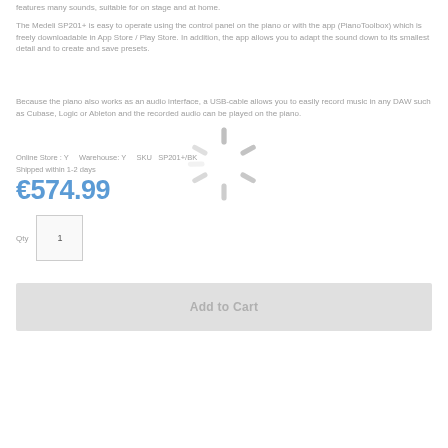features many sounds, suitable for on stage and at home.
The Medeli SP201+ is easy to operate using the control panel on the piano or with the app (PianoToolbox) which is freely downloadable in App Store / Play Store. In addition, the app allows you to adapt the sound down to its smallest detail and to create and save presets.
Because the piano also works as an audio interface, a USB-cable allows you to easily record music in any DAW such as Cubase, Logic or Ableton and the recorded audio can be played on the piano.
Online Store : Y    Warehouse: Y    SKU  SP201+/BK
Shipped within 1-2 days
€574.99
Qty  1
[Figure (other): Loading spinner animation overlay]
Add to Cart